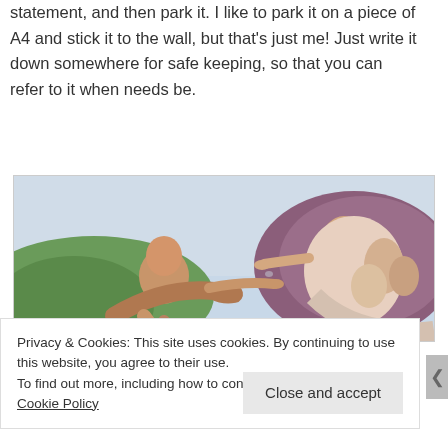statement, and then park it. I like to park it on a piece of A4 and stick it to the wall, but that's just me! Just write it down somewhere for safe keeping, so that you can refer to it when needs be.
[Figure (illustration): Michelangelo's Creation of Adam painting showing two hands nearly touching — the reclining Adam on the left reaching toward the extended hand of God on the right, set against a sky with mountains.]
Privacy & Cookies: This site uses cookies. By continuing to use this website, you agree to their use.
To find out more, including how to control cookies, see here: Cookie Policy
Close and accept